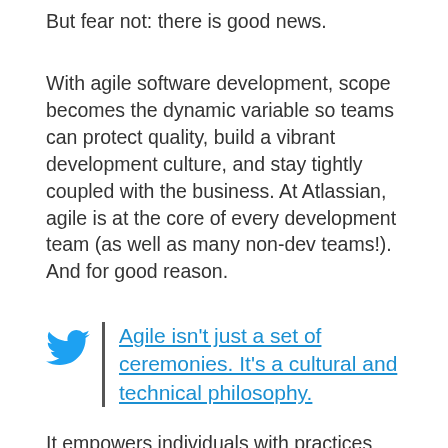But fear not: there is good news.
With agile software development, scope becomes the dynamic variable so teams can protect quality, build a vibrant development culture, and stay tightly coupled with the business. At Atlassian, agile is at the core of every development team (as well as many non-dev teams!). And for good reason.
Agile isn't just a set of ceremonies. It's a cultural and technical philosophy.
It empowers individuals with practices